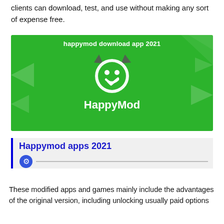clients can download, test, and use without making any sort of expense free.
[Figure (illustration): HappyMod app banner with green background, devil smiley logo, text 'happymod download app 2021' and 'HappyMod']
Happymod apps 2021
These modified apps and games mainly include the advantages of the original version, including unlocking usually paid options